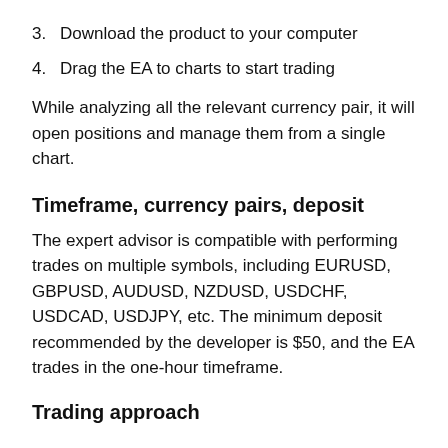3.  Download the product to your computer
4.  Drag the EA to charts to start trading
While analyzing all the relevant currency pair, it will open positions and manage them from a single chart.
Timeframe, currency pairs, deposit
The expert advisor is compatible with performing trades on multiple symbols, including EURUSD, GBPUSD, AUDUSD, NZDUSD, USDCHF, USDCAD, USDJPY, etc. The minimum deposit recommended by the developer is $50, and the EA trades in the one-hour timeframe.
Trading approach